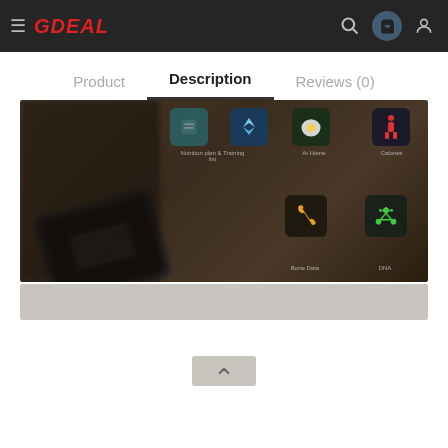GDEAL — navigation bar with hamburger menu, logo, search, cart, and user icons
Product | Description | Reviews (0)
[Figure (screenshot): Blurred screenshot of a game or app store listing showing various game icons including nutrition/protein tracking icons, a bone icon, and a molecule icon on a dark wooden background. A black game controller or phone is visible on the lower left.]
[Figure (screenshot): Gray loading/placeholder bar below the main image.]
[Figure (other): Scroll-to-top button with upward chevron arrow icon.]